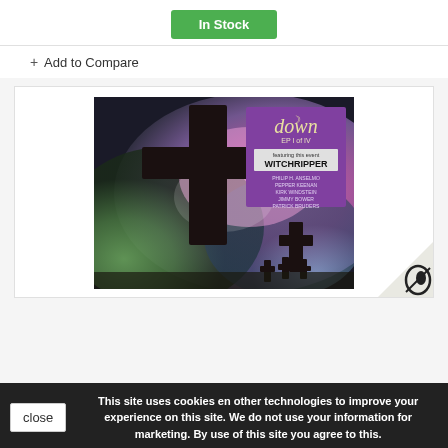In Stock
+ Add to Compare
[Figure (photo): Album cover for 'Down - EP 1 of IV' featuring large cross silhouettes against a colorful purple, green and pink sky background. The album title and band name with member credits are shown in the upper right corner.]
This site uses cookies en other technologies to improve your experience on this site. We do not use your information for marketing. By use of this site you agree to this.
close